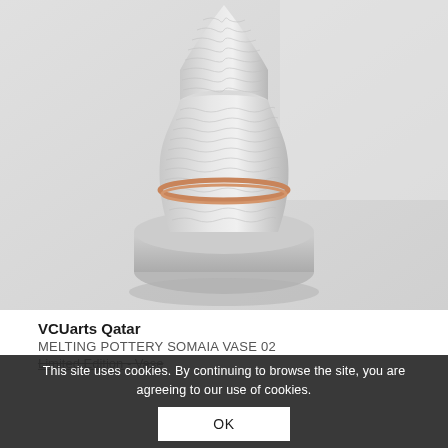[Figure (photo): A 3D-printed sculptural vase with wavy ribbed white texture and a copper ring accent, placed on a round grey concrete pedestal against a light grey background.]
VCUarts Qatar
MELTING POTTERY SOMAIA VASE 02
Limited Edition - Vase
This site uses cookies. By continuing to browse the site, you are agreeing to our use of cookies.